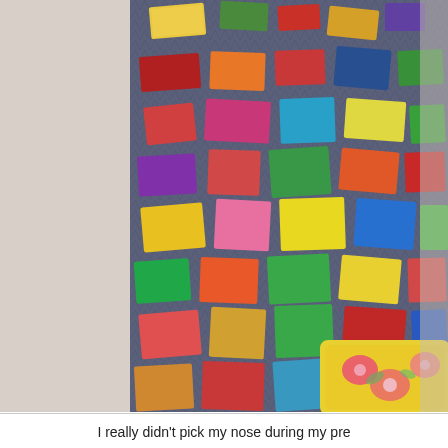[Figure (photo): A colorful patchwork quilt with a dark slate-blue/grey background and many multicolored fabric patches in various patterns (floral, striped, solid). The quilt has a chevron quilting stitch pattern. It is draped over or hanging near a light-colored chair/stand. A yellow floral pillow is visible in the bottom right corner.]
I really didn't  pick my nose during my pre